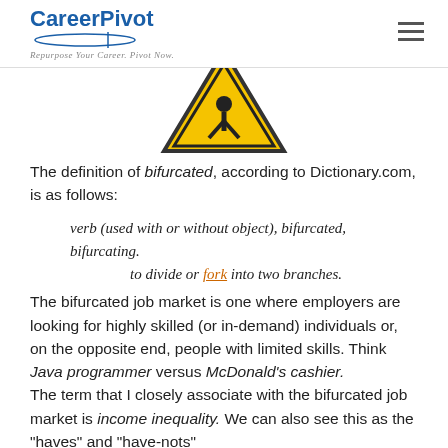CareerPivot — Repurpose Your Career. Pivot Now.
[Figure (illustration): Partial view of a yellow warning sign (triangular road sign with a black symbol), cropped at top of content area.]
The definition of bifurcated, according to Dictionary.com, is as follows:
verb (used with or without object), bifurcated, bifurcating.

    to divide or fork into two branches.
The bifurcated job market is one where employers are looking for highly skilled (or in-demand) individuals or, on the opposite end, people with limited skills. Think Java programmer versus McDonald's cashier.
The term that I closely associate with the bifurcated job market is income inequality. We can also see this as the "haves" and "have-nots"